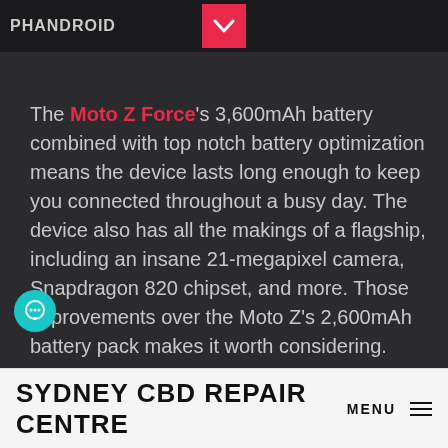[Figure (screenshot): Top bar showing PHANDROID logo on dark background with a red scroll-down button in the center]
The Moto Z Force's 3,600mAh battery combined with top notch battery optimization means the device lasts long enough to keep you connected throughout a busy day. The device also has all the makings of a flagship, including an insane 21-megapixel camera, Snapdragon 820 chipset, and more. Those improvements over the Moto Z's 2,600mAh battery pack makes it worth considering.
SYDNEY CBD REPAIR CENTRE  MENU ≡